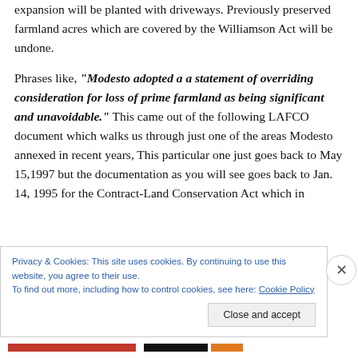expansion will be planted with driveways.  Previously preserved farmland acres  which are covered by the Williamson Act will be undone.
Phrases like, "Modesto adopted a  a statement of overriding consideration for loss of prime farmland as being significant and unavoidable."  This came out of the following LAFCO document which walks us through just one of the areas Modesto annexed in recent years, This particular one just goes back to May 15,1997 but the documentation as you will see goes back to Jan. 14, 1995 for the Contract-Land Conservation Act which in
Privacy & Cookies: This site uses cookies. By continuing to use this website, you agree to their use.
To find out more, including how to control cookies, see here: Cookie Policy